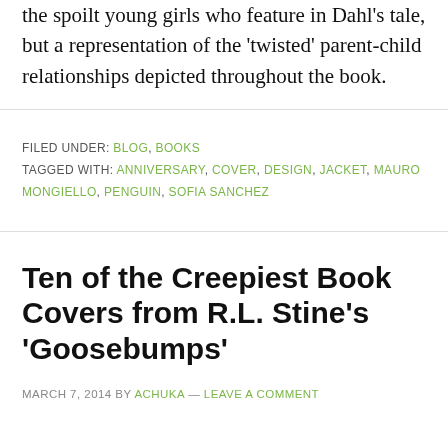the spoilt young girls who feature in Dahl's tale, but a representation of the 'twisted' parent-child relationships depicted throughout the book.
FILED UNDER: BLOG, BOOKS
TAGGED WITH: ANNIVERSARY, COVER, DESIGN, JACKET, MAURO MONGIELLO, PENGUIN, SOFIA SANCHEZ
Ten of the Creepiest Book Covers from R.L. Stine's 'Goosebumps'
MARCH 7, 2014 BY ACHUKA — LEAVE A COMMENT